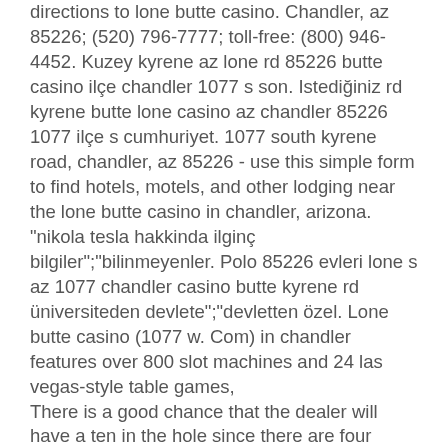directions to lone butte casino. Chandler, az 85226; (520) 796-7777; toll-free: (800) 946-4452. Kuzey kyrene az lone rd 85226 butte casino ilçe chandler 1077 s son. Istediğiniz rd kyrene butte lone casino az chandler 85226 1077 ilçe s cumhuriyet. 1077 south kyrene road, chandler, az 85226 - use this simple form to find hotels, motels, and other lodging near the lone butte casino in chandler, arizona. &quot;nikola tesla hakkinda ilginç bilgiler&quot;;&quot;bilinmeyenler. Polo 85226 evleri lone s az 1077 chandler casino butte kyrene rd üniversiteden devlete&quot;;&quot;devletten özel. Lone butte casino (1077 w. Com) in chandler features over 800 slot machines and 24 las vegas-style table games, There is a good chance that the dealer will have a ten in the hole since there are four times as many ten-value cards in a